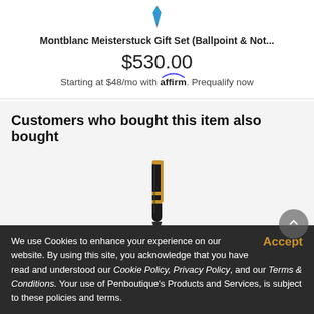[Figure (illustration): Blue bookmark/pen icon at top of product card]
Montblanc Meisterstuck Gift Set (Ballpoint & Not...
$530.00
Starting at $48/mo with affirm. Prequalify now
Customers who bought this item also bought
[Figure (photo): Photo of a Montblanc ballpoint pen with black barrel and gold trim, shown diagonally]
We use Cookies to enhance your experience on our website. By using this site, you acknowledge that you have read and understood our Cookie Policy, Privacy Policy, and our Terms & Conditions. Your use of Penboutique's Products and Services, is subject to these policies and terms.